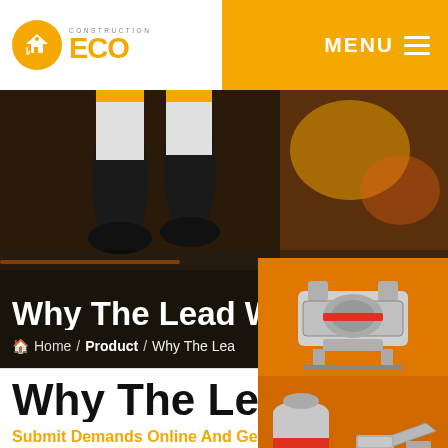[Figure (logo): ECO Construction logo: orange circle with building icon, text CONSTRUCTION above ECO in orange]
MENU ≡
[Figure (photo): Hero image: construction worker legs/boots on asphalt road surface, orange safety clothing]
Why The Lead Was Crushed
🏠 Home / Product / Why The Lea...
[Figure (illustration): Orange sidebar panel with two construction machine images (crusher equipment), Enjoy 3% discount banner, Click to Chat button, Enquiry button]
Why The Lead Was Crushed
Submit Demands Online And Ge...